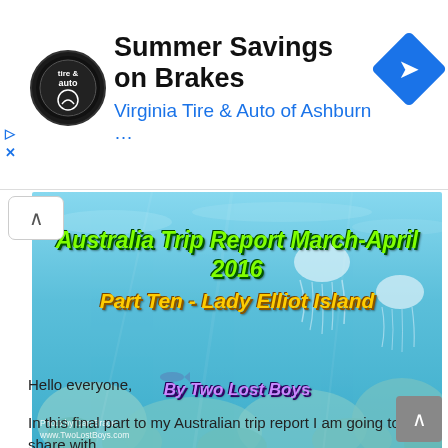[Figure (infographic): Advertisement banner for Virginia Tire & Auto of Ashburn featuring their logo, headline 'Summer Savings on Brakes', subtext 'Virginia Tire & Auto of Ashburn …', and a blue navigation diamond icon]
[Figure (photo): Underwater photo of coral reef at Lady Elliot Island, Australia, with jellyfish visible. Title overlay reads 'Australia Trip Report March-April 2016 Part Ten - Lady Elliot Island' and byline 'By Two Lost Boys'. Photo credit: Dan Brace, www.TwoLostBoys.com]
Hello everyone,
In this final part to my Australian trip report I am going to to share with